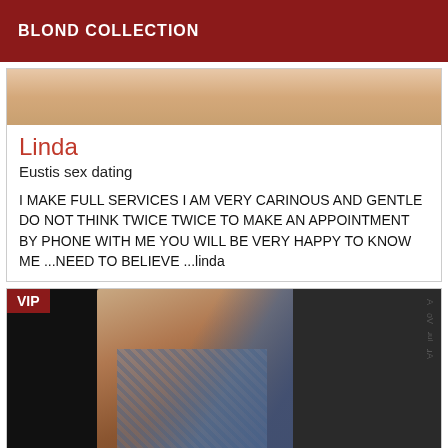BLOND COLLECTION
[Figure (photo): Partial cropped photo at top of card]
Linda
Eustis sex dating
I MAKE FULL SERVICES I AM VERY CARINOUS AND GENTLE DO NOT THINK TWICE TWICE TO MAKE AN APPOINTMENT BY PHONE WITH ME YOU WILL BE VERY HAPPY TO KNOW ME ...NEED TO BELIEVE ...linda
[Figure (photo): VIP photo of woman with blue hair wearing plaid shirt, dark background]